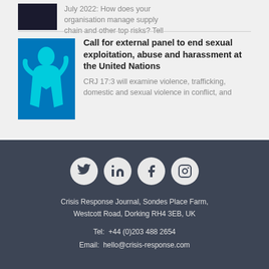[Figure (photo): Dark image thumbnail at top]
July 2022: How does your organisation manage supply chain and other top risks? Tell
[Figure (illustration): Cyan silhouette of figure on blue background]
Call for external panel to end sexual exploitation, abuse and harassment at the United Nations
CRJ 17:3 will examine violence, trafficking, domestic and sexual violence in conflict, and
[Figure (other): Social media icons: Twitter, LinkedIn, Facebook, Instagram]
Crisis Response Journal, Sondes Place Farm, Westcott Road, Dorking RH4 3EB, UK
Tel:  +44 (0)203 488 2654
Email:  hello@crisis-response.com